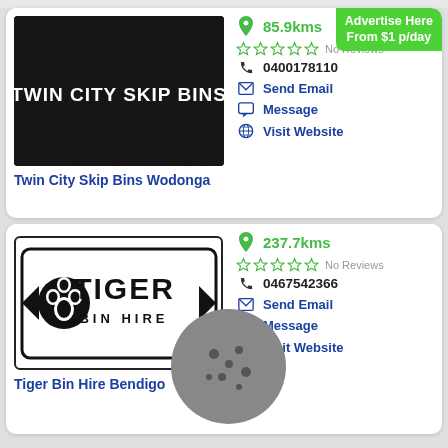[Figure (logo): Twin City Skip Bins logo on black textured background, white bold text reading TWIN CITY SKIP BINS]
Twin City Skip Bins Wodonga
85.9kms
No Reviews
0400178110
Send Email
Message
Visit Website
[Figure (logo): Tiger Bin Hire logo: black outlined rectangular badge with paw print icon and TIGER BIN HIRE text]
Tiger Bin Hire Bendigo
237.7kms
No Reviews
0467542366
Send Email
Message
Visit Website
Advertise Here
From $1 p/day